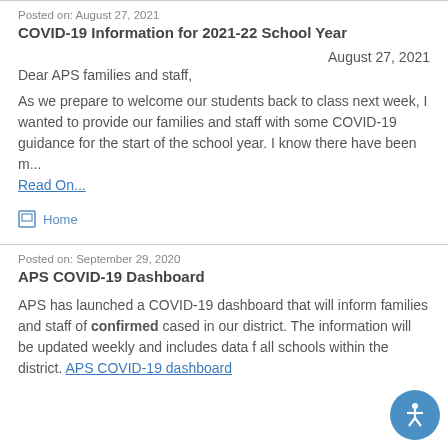Posted on: August 27, 2021
COVID-19 Information for 2021-22 School Year
August 27, 2021
Dear APS families and staff,
As we prepare to welcome our students back to class next week, I wanted to provide our families and staff with some COVID-19 guidance for the start of the school year. I know there have been m...
Read On...
Home
Posted on: September 29, 2020
APS COVID-19 Dashboard
APS has launched a COVID-19 dashboard that will inform families and staff of confirmed cased in our district. The information will be updated weekly and includes data f all schools within the district. APS COVID-19 dashboard